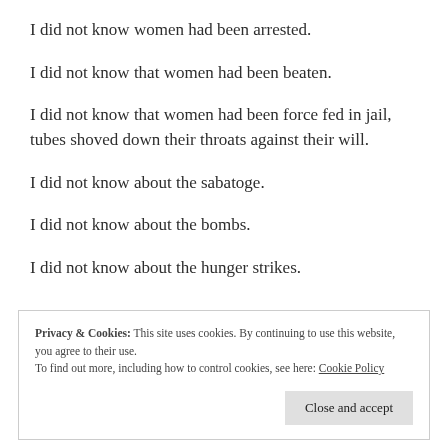I did not know women had been arrested.
I did not know that women had been beaten.
I did not know that women had been force fed in jail, tubes shoved down their throats against their will.
I did not know about the sabatoge.
I did not know about the bombs.
I did not know about the hunger strikes.
Privacy & Cookies: This site uses cookies. By continuing to use this website, you agree to their use. To find out more, including how to control cookies, see here: Cookie Policy Close and accept